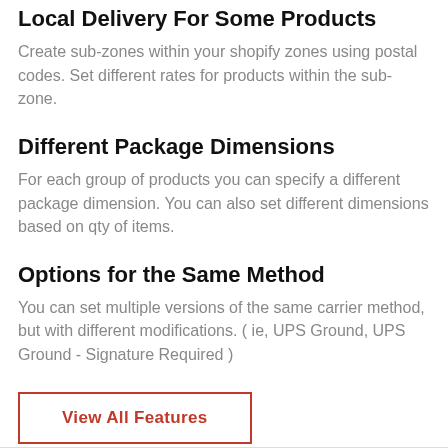Local Delivery For Some Products
Create sub-zones within your shopify zones using postal codes. Set different rates for products within the sub-zone.
Different Package Dimensions
For each group of products you can specify a different package dimension. You can also set different dimensions based on qty of items.
Options for the Same Method
You can set multiple versions of the same carrier method, but with different modifications. ( ie, UPS Ground, UPS Ground - Signature Required )
View All Features